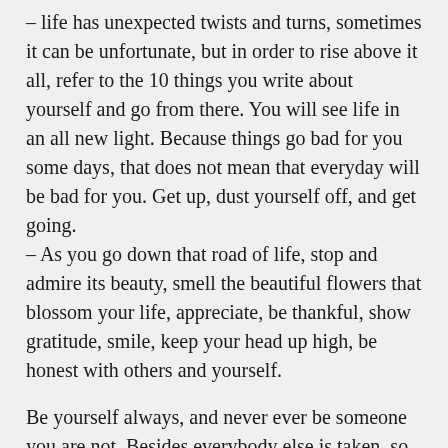– life has unexpected twists and turns, sometimes it can be unfortunate, but in order to rise above it all, refer to the 10 things you write about yourself and go from there. You will see life in an all new light. Because things go bad for you some days, that does not mean that everyday will be bad for you. Get up, dust yourself off, and get going.
– As you go down that road of life, stop and admire its beauty, smell the beautiful flowers that blossom your life, appreciate, be thankful, show gratitude, smile, keep your head up high, be honest with others and yourself.
Be yourself always, and never ever be someone you are not. Besides everybody else is taken, so take yourself, be who you are. You are enough. Make the World happy, but start with yourself.
Share this: